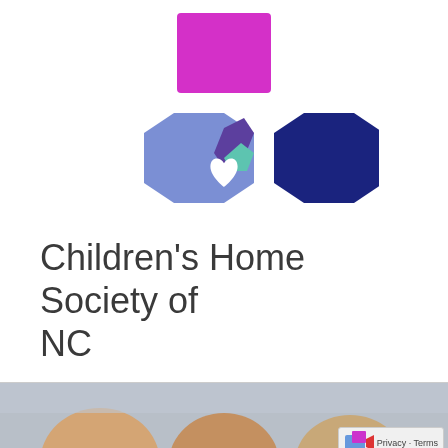[Figure (logo): Children's Home Society of NC logo: two interlocking hexagons (light blue left, dark navy right) with a magenta/pink rectangle at top center, overlapping sections showing purple and teal, with a white heart shape in the center intersection]
Children's Home Society of NC
[Figure (photo): Photo strip showing children's heads/hair at bottom of page, partially visible]
Privacy · Terms